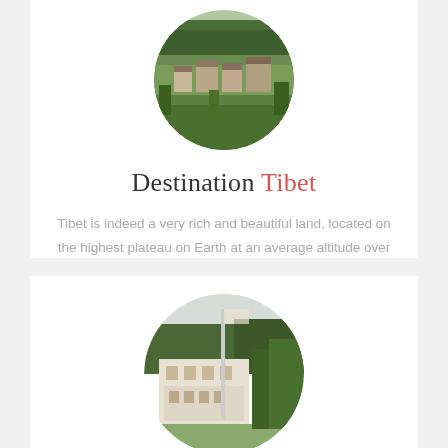[Figure (photo): Circular cropped photo of Tibetan mountain village with green forested hillside and traditional buildings]
Destination Tibet
Tibet is indeed a very rich and beautiful land, located on the highest plateau on Earth at an average altitude over 4000 ...
READ MORE
[Figure (photo): Circular cropped photo of a Bhutanese or Tibetan temple/dzong with tall flagpole and green trees in background]